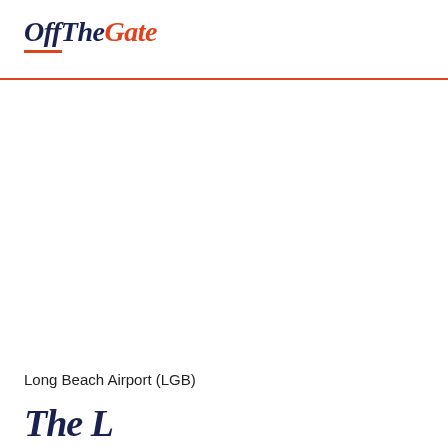OffTheGate
Long Beach Airport (LGB)
The L...